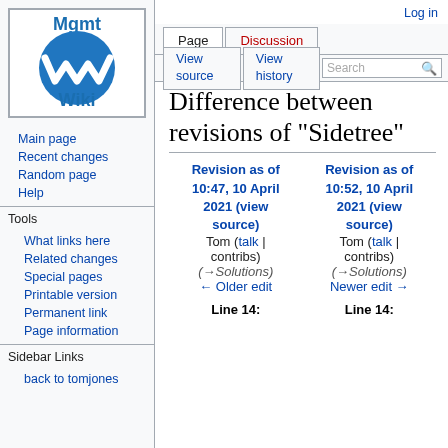[Figure (logo): Mgmt Wiki logo: blue oval with white W-shaped wave mark, text 'Mgmt' above and 'Wiki' below in blue]
Main page
Recent changes
Random page
Help
Tools
What links here
Related changes
Special pages
Printable version
Permanent link
Page information
Sidebar Links
back to tomjones
Log in
Difference between revisions of "Sidetree"
| Revision as of 10:47, 10 April 2021 (view source) | Revision as of 10:52, 10 April 2021 (view source) |
| --- | --- |
| Tom (talk | contribs) | Tom (talk | contribs) |
| (→Solutions) | (→Solutions) |
| ← Older edit | Newer edit → |
| Line 14: | Line 14: |